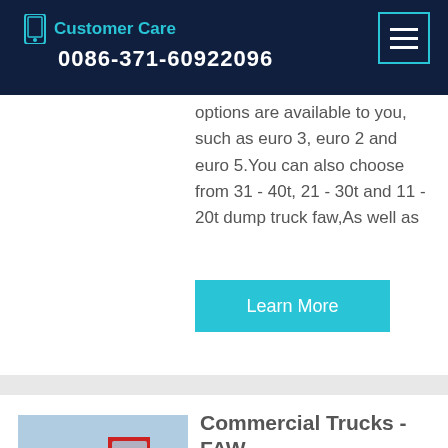Customer Care 0086-371-60922096
options are available to you, such as euro 3, euro 2 and euro 5.You can also choose from 31 - 40t, 21 - 30t and 11 - 20t dump truck faw,As well as
Learn More
Commercial Trucks - FAW
Kefid · Model CA3250 (11 Liter) 6x4 Dump Truck. Model CA3250 (9 Liter)
[Figure (photo): Red commercial dump trucks (FAW brand) parked in a lot with teal/blue trucks in background]